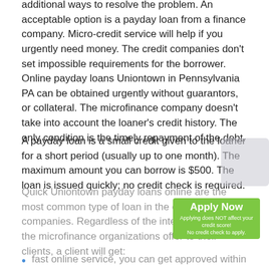additional ways to resolve the problem. An acceptable option is a payday loan from a finance company. Micro-credit service will help if you urgently need money. The credit companies don't set impossible requirements for the borrower. Online payday loans Uniontown in Pennsylvania PA can be obtained urgently without guarantors, or collateral. The microfinance company doesn't take into account the loaner's credit history. The only condition is the timely repayment of the debt.
A payday loan is a small credit given to the loaner for a short period (usually up to one month). The maximum amount you can borrow is $500. The loan is issued quickly; no credit check is required.
Quick Uniontown payday loans online are the most common type of loan in the credit companies. Regardless of the interest rates that the microfinance organizations offer to their clients, a client will get:
fast online service, you can get approved within several